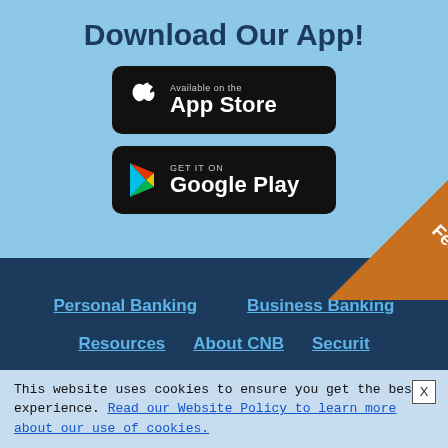Download Our App!
[Figure (logo): App Store download badge - black rounded rectangle with Apple logo and text 'Available on the App Store']
[Figure (logo): Google Play download badge - black rounded rectangle with Google Play logo and text 'GET IT ON Google Play']
Personal Banking
Business Banking
Resources
About CNB
Security
[Figure (other): Orange diagonal feedback ribbon in bottom-right corner with white text 'Feedback']
This website uses cookies to ensure you get the best experience. Read our Website Policy to learn more about our use of cookies.